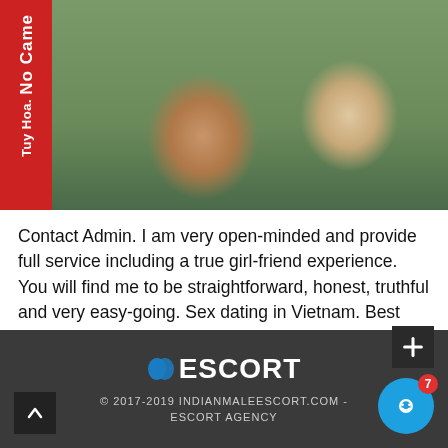[Figure (photo): Photo of two people outdoors with a red banner on the left side reading 'No Came' and 'Tuy Hoa']
Contact Admin. I am very open-minded and provide full service including a true girl-friend experience. You will find me to be straightforward, honest, truthful and very easy-going. Sex dating in Vietnam. Best blowjobs in Bac Lieu. Are you shy? Would you meet a nice and horny girl here in Hong Kong to relax yourself. Hello, I am Nice independent your town girl, 23y. I want meet interesting and normal guys.
ESCORT © 2017-2019 INDIANMALEESCORT.COM - ESCORT AGENCY